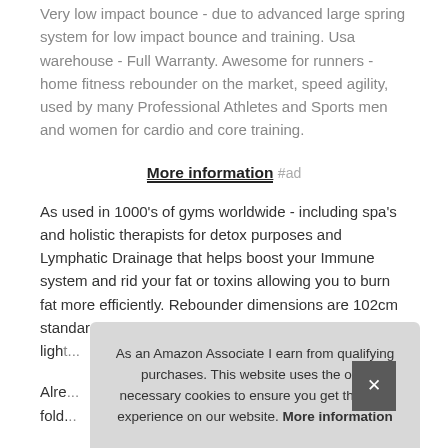Very low impact bounce - due to advanced large spring system for low impact bounce and training. Usa warehouse - Full Warranty. Awesome for runners - home fitness rebounder on the market, speed agility, used by many Professional Athletes and Sports men and women for cardio and core training.
More information #ad
As used in 1000's of gyms worldwide - including spa's and holistic therapists for detox purposes and Lymphatic Drainage that helps boost your Immune system and rid your fat or toxins allowing you to burn fat more efficiently. Rebounder dimensions are 102cm standard fitness size rebounder weig... light...
Alre... fold...
As an Amazon Associate I earn from qualifying purchases. This website uses the only necessary cookies to ensure you get the best experience on our website. More information